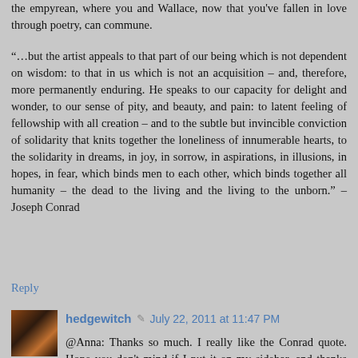the empyrean, where you and Wallace, now that you've fallen in love through poetry, can commune.
“…but the artist appeals to that part of our being which is not dependent on wisdom: to that in us which is not an acquisition – and, therefore, more permanently enduring. He speaks to our capacity for delight and wonder, to our sense of pity, and beauty, and pain: to latent feeling of fellowship with all creation – and to the subtle but invincible conviction of solidarity that knits together the loneliness of innumerable hearts, to the solidarity in dreams, in joy, in sorrow, in aspirations, in illusions, in hopes, in fear, which binds men to each other, which binds together all humanity – the dead to the living and the living to the unborn.” – Joseph Conrad
Reply
hedgewitch • July 22, 2011 at 11:47 PM
@Anna: Thanks so much. I really like the Conrad quote. Hope you don’t mind if I put it on my sidebar, and thanks for bringing it to my attention. That first line is a poem in